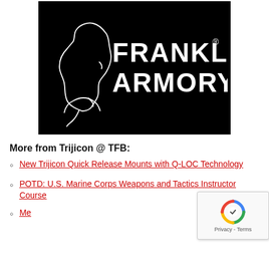[Figure (logo): Franklin Armory logo: black background with white outline silhouette of Benjamin Franklin's profile on the left, and 'FRANKLIN® ARMORY' in bold white text on the right.]
More from Trijicon @ TFB:
New Trijicon Quick Release Mounts with Q-LOC Technology
POTD: U.S. Marine Corps Weapons and Tactics Instructor Course
Me…